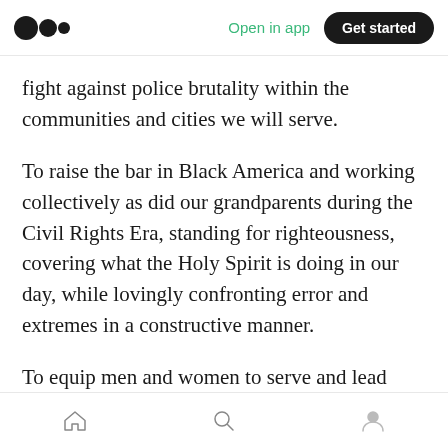Medium app header — Open in app | Get started
fight against police brutality within the communities and cities we will serve.
To raise the bar in Black America and working collectively as did our grandparents during the Civil Rights Era, standing for righteousness, covering what the Holy Spirit is doing in our day, while lovingly confronting error and extremes in a constructive manner.
To equip men and women to serve and lead with integrity, creativity, competence and compassion in a diverse, interconnected and increasingly
Bottom navigation bar with home, search, and profile icons